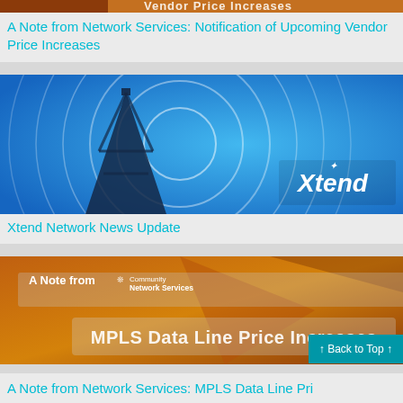[Figure (illustration): Orange/brown banner image with text 'Vendor Price Increases' partially visible at top]
A Note from Network Services: Notification of Upcoming Vendor Price Increases
[Figure (photo): Blue background with wireless tower and concentric signal rings; Xtend logo in bottom right]
Xtend Network News Update
[Figure (illustration): Orange/brown background with 'A Note from Community Network Services' banner and 'MPLS Data Line Price Increases' text overlay]
A Note from Network Services: MPLS Data Line Pri...